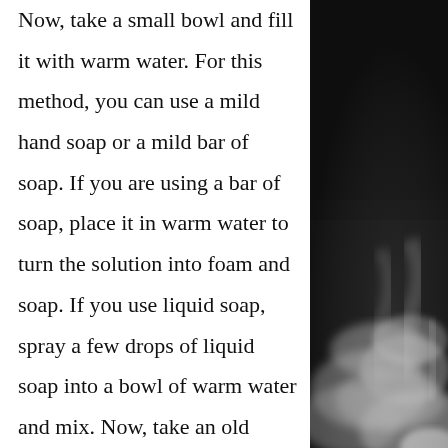Now, take a small bowl and fill it with warm water. For this method, you can use a mild hand soap or a mild bar of soap. If you are using a bar of soap, place it in warm water to turn the solution into foam and soap. If you use liquid soap, spray a few drops of liquid soap into a bowl of warm water and mix. Now, take an old toothbrush and dip it into this soapy solution. Remove neoprene and scrub gently with a toothbrush and soap solution. Be very careful when rubbing
[Figure (photo): Black and white photograph of smoke or mist wisps against a dark background, positioned on the right side of the page.]